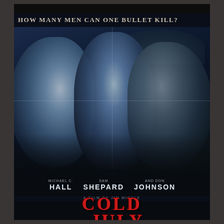[Figure (photo): Movie poster for 'Cold in July' showing three men's faces in dark blue tones against a dark background with crosshair lines, tagline at top reading 'HOW MANY MEN CAN ONE BULLET KILL?']
HOW MANY MEN CAN ONE BULLET KILL?
MICHAEL C. HALL   SAM SHEPARD   and DON JOHNSON
A FILM BY JIM MICKLE
COLD IN JULY